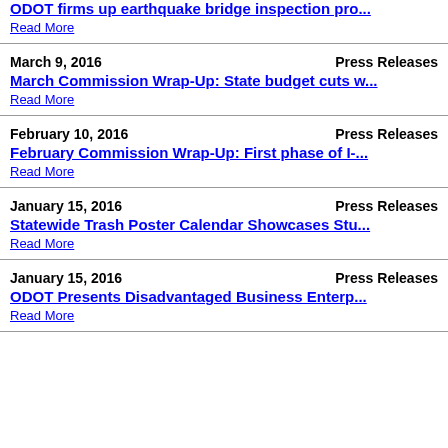ODOT firms up earthquake bridge inspection pro...
Read More
March 9, 2016 | Press Releases
March Commission Wrap-Up: State budget cuts w...
Read More
February 10, 2016 | Press Releases
February Commission Wrap-Up: First phase of I-...
Read More
January 15, 2016 | Press Releases
Statewide Trash Poster Calendar Showcases Stu...
Read More
January 15, 2016 | Press Releases
ODOT Presents Disadvantaged Business Enterp...
Read More